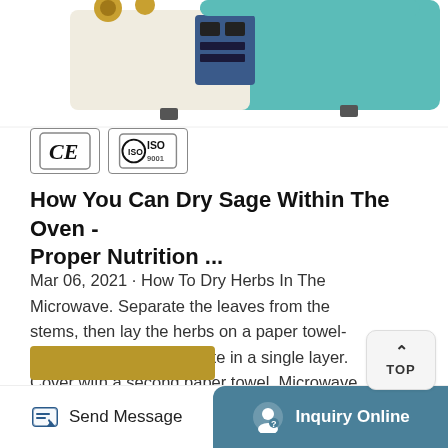[Figure (photo): Product photo of a laboratory oven/drying machine with a teal/turquoise body and gold fittings, white casing, digital control panel visible on the left side. The product image is cropped at the top of the page.]
[Figure (logo): CE certification mark and ISO certification mark badges displayed in bordered boxes.]
How You Can Dry Sage Within The Oven - Proper Nutrition ...
Mar 06, 2021 · How To Dry Herbs In The Microwave. Separate the leaves from the stems, then lay the herbs on a paper towel-lined microwave-safe plate in a single layer. Cover with a second paper towel. Microwave on high for 60 seconds and keep a close eye to make sure the herbs don't burn. If not yet thoroughly dried, continue to dry your herbs in 30-second ...
Send Message | Inquiry Online